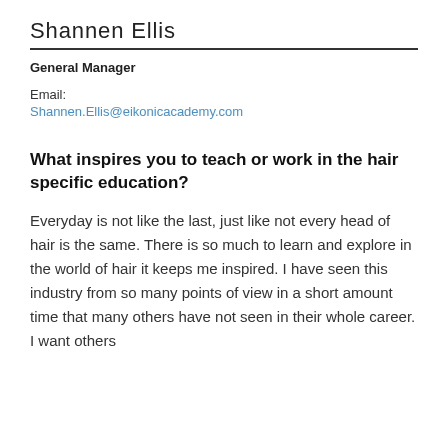Shannen Ellis
General Manager
Email:
Shannen.Ellis@eikonicacademy.com
What inspires you to teach or work in the hair specific education?
Everyday is not like the last, just like not every head of hair is the same. There is so much to learn and explore in the world of hair it keeps me inspired. I have seen this industry from so many points of view in a short amount time that many others have not seen in their whole career. I want others